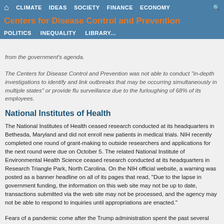Centers for Disease Control and Prevention
from the government's agenda.
The Centers for Disease Control and Prevention was not able to conduct "in-depth investigations to identify and link outbreaks that may be occurring simultaneously in multiple states" or provide flu surveillance due to the furloughing of 68% of its employees.
National Institutes of Health
The National Institutes of Health ceased research conducted at its headquarters in Bethesda, Maryland and did not enroll new patients in medical trials. NIH recently completed one round of grant-making to outside researchers and applications for the next round were due on October 5. The related National Institute of Environmental Health Science ceased research conducted at its headquarters in Research Triangle Park, North Carolina. On the NIH official website, a warning was posted as a banner headline on all of its pages that read, "Due to the lapse in government funding, the information on this web site may not be up to date, transactions submitted via the web site may not be processed, and the agency may not be able to respond to inquiries until appropriations are enacted."
Fears of a pandemic come after the Trump administration spent the past several years gutting the very government programs that are tasked with combatting such a crisis.
In 2018, for instance, the CDC cut 80% of its efforts to prevent